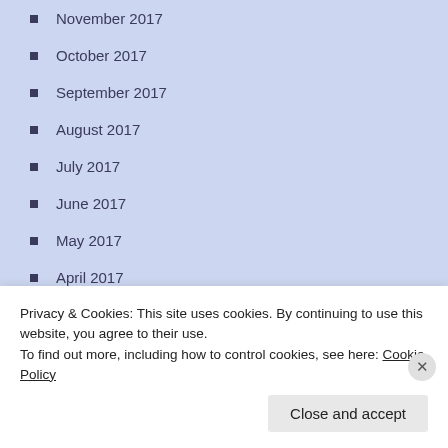November 2017
October 2017
September 2017
August 2017
July 2017
June 2017
May 2017
April 2017
March 2017
February 2017
January 2017
Privacy & Cookies: This site uses cookies. By continuing to use this website, you agree to their use.
To find out more, including how to control cookies, see here: Cookie Policy
Close and accept